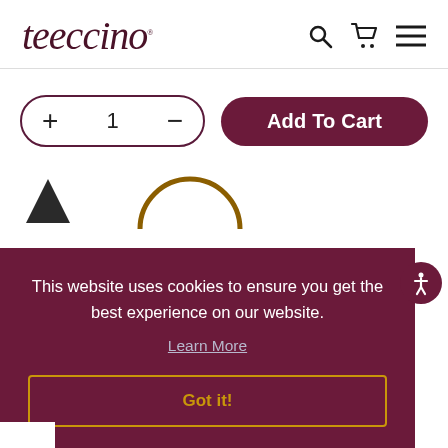[Figure (logo): Teeccino logo in dark burgundy cursive script]
[Figure (screenshot): Header icons: search (magnifying glass), shopping cart, hamburger menu]
[Figure (screenshot): Quantity selector box with + and 1 and - controls, and Add To Cart button in dark purple]
This website uses cookies to ensure you get the best experience on our website.
Learn More
Got it!